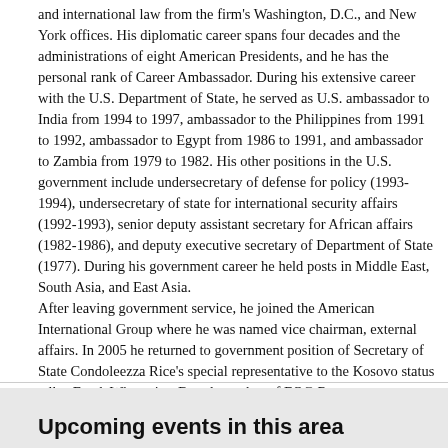and international law from the firm's Washington, D.C., and New York offices. His diplomatic career spans four decades and the administrations of eight American Presidents, and he has the personal rank of Career Ambassador. During his extensive career with the U.S. Department of State, he served as U.S. ambassador to India from 1994 to 1997, ambassador to the Philippines from 1991 to 1992, ambassador to Egypt from 1986 to 1991, and ambassador to Zambia from 1979 to 1982. His other positions in the U.S. government include undersecretary of defense for policy (1993-1994), undersecretary of state for international security affairs (1992-1993), senior deputy assistant secretary for African affairs (1982-1986), and deputy executive secretary of Department of State (1977). During his government career he held posts in Middle East, South Asia, and East Asia.
After leaving government service, he joined the American International Group where he was named vice chairman, external affairs. In 2005 he returned to government position of Secretary of State Condoleezza Rice's special representative to the Kosovo status talks. Frank Wisner is a Board member of EOG Resources, a hydrocarbon exploration company; an advisor to the American Tunisian Enterprise Fund; and a director emeritus of Refugees International. Since 2012 he has chaired the Board of Trustees of International House, a cultural exchange resident and program center in New York City. He is a graduate of Princeton University.
Upcoming events in this area